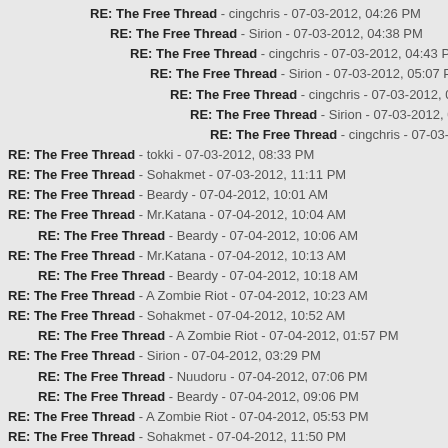RE: The Free Thread - cingchris - 07-03-2012, 04:26 PM
RE: The Free Thread - Sirion - 07-03-2012, 04:38 PM
RE: The Free Thread - cingchris - 07-03-2012, 04:43 PM
RE: The Free Thread - Sirion - 07-03-2012, 05:07 PM
RE: The Free Thread - cingchris - 07-03-2012, 05:16 PM
RE: The Free Thread - Sirion - 07-03-2012, 05:19 PM
RE: The Free Thread - cingchris - 07-03-2012, 05:27 PM
RE: The Free Thread - tokki - 07-03-2012, 08:33 PM
RE: The Free Thread - Sohakmet - 07-03-2012, 11:11 PM
RE: The Free Thread - Beardy - 07-04-2012, 10:01 AM
RE: The Free Thread - Mr.Katana - 07-04-2012, 10:04 AM
RE: The Free Thread - Beardy - 07-04-2012, 10:06 AM
RE: The Free Thread - Mr.Katana - 07-04-2012, 10:13 AM
RE: The Free Thread - Beardy - 07-04-2012, 10:18 AM
RE: The Free Thread - A Zombie Riot - 07-04-2012, 10:23 AM
RE: The Free Thread - Sohakmet - 07-04-2012, 10:52 AM
RE: The Free Thread - A Zombie Riot - 07-04-2012, 01:57 PM
RE: The Free Thread - Sirion - 07-04-2012, 03:29 PM
RE: The Free Thread - Nuudoru - 07-04-2012, 07:06 PM
RE: The Free Thread - Beardy - 07-04-2012, 09:06 PM
RE: The Free Thread - A Zombie Riot - 07-04-2012, 05:53 PM
RE: The Free Thread - Sohakmet - 07-04-2012, 11:50 PM
RE: The Free Thread - A Zombie Riot - 07-05-2012, 02:41 AM
RE: The Free Thread - Beardy - 07-05-2012, 01:04 AM
RE: The Free Thread - Sohakmet - 07-05-2012, 01:10 AM